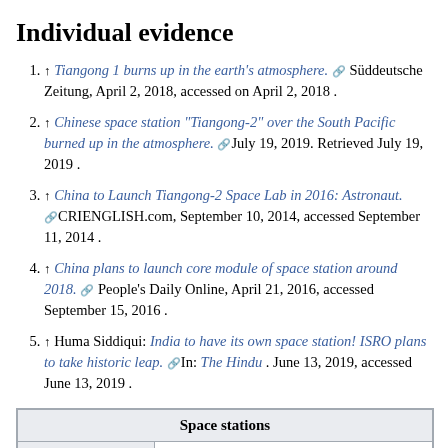Individual evidence
↑ Tiangong 1 burns up in the earth's atmosphere. [link] Süddeutsche Zeitung, April 2, 2018, accessed on April 2, 2018 .
↑ Chinese space station "Tiangong-2" over the South Pacific burned up in the atmosphere. [link] July 19, 2019. Retrieved July 19, 2019 .
↑ China to Launch Tiangong-2 Space Lab in 2016: Astronaut. [link] CRIENGLISH.com, September 10, 2014, accessed September 11, 2014 .
↑ China plans to launch core module of space station around 2018. [link] People's Daily Online, April 21, 2016, accessed September 15, 2016 .
↑ Huma Siddiqui: India to have its own space station! ISRO plans to take historic leap. [link] In: The Hindu . June 13, 2019, accessed June 13, 2019 .
| Space stations |
| --- |
| In orbit: | ISS (since 1998) |
|  | Chinese space station | Lunar Orbital |